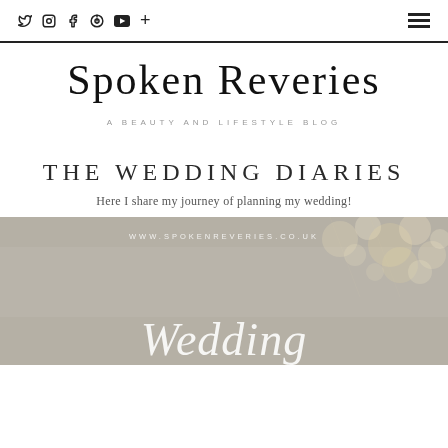Social icons: Twitter, Instagram, Facebook, Pinterest, YouTube, Plus | Hamburger menu
Spoken Reveries
A BEAUTY AND LIFESTYLE BLOG
THE WEDDING DIARIES
Here I share my journey of planning my wedding!
[Figure (photo): Wedding blog featured image with bokeh lights in the upper right, script text 'Wedding' partially visible at the bottom, and URL watermark WWW.SPOKENREVERIES.CO.UK]